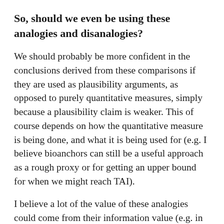So, should we even be using these analogies and disanalogies?
We should probably be more confident in the conclusions derived from these comparisons if they are used as plausibility arguments, as opposed to purely quantitative measures, simply because a plausibility claim is weaker. This of course depends on how the quantitative measure is being done, and what it is being used for (e.g. I believe bioanchors can still be a useful approach as a rough proxy or for getting an upper bound for when we might reach TAI).
I believe a lot of the value of these analogies could come from their information value (e.g. in helping us understand the mechanisms that could lead to different takeoff scenarios). As an example, understanding the